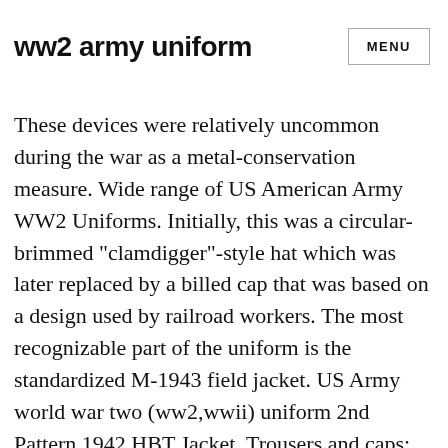ww2 army uniform
These devices were relatively uncommon during the war as a metal-conservation measure. Wide range of US American Army WW2 Uniforms. Initially, this was a circular-brimmed "clamdigger"-style hat which was later replaced by a billed cap that was based on a design used by railroad workers. The most recognizable part of the uniform is the standardized M-1943 field jacket. US Army world war two (ww2,wwii) uniform 2nd Pattern 1942 HBT Jacket, Trousers and caps: These are made in correct Herring Bone Twill fabric in OD7 shade. Great for WWII re-enactors, collectors, or history buffs. The